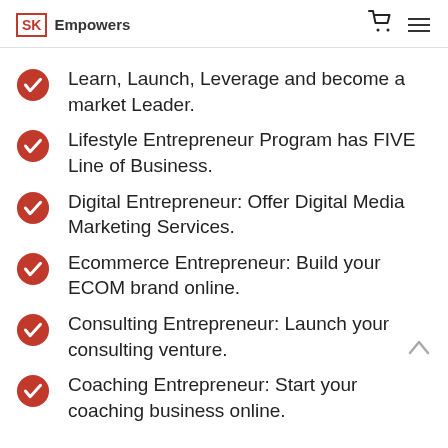SK Empowers
Learn, Launch, Leverage and become a market Leader.
Lifestyle Entrepreneur Program has FIVE Line of Business.
Digital Entrepreneur: Offer Digital Media Marketing Services.
Ecommerce Entrepreneur: Build your ECOM brand online.
Consulting Entrepreneur: Launch your consulting venture.
Coaching Entrepreneur: Start your coaching business online.